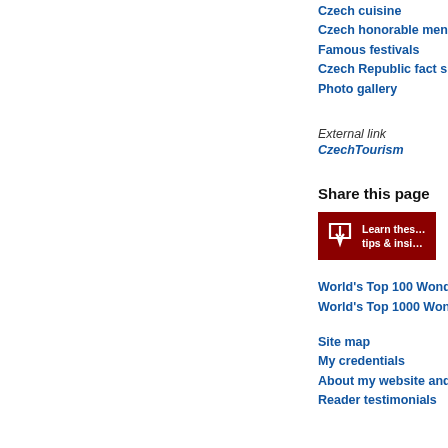Czech cuisine
Czech honorable mentio...
Famous festivals
Czech Republic fact she...
Photo gallery
External link
CzechTourism
Share this page
[Figure (infographic): Dark red banner with download arrow icon and text 'Learn these tips & insi...']
World's Top 100 Wonder...
World's Top 1000 Wonde...
Site map
My credentials
About my website and c...
Reader testimonials